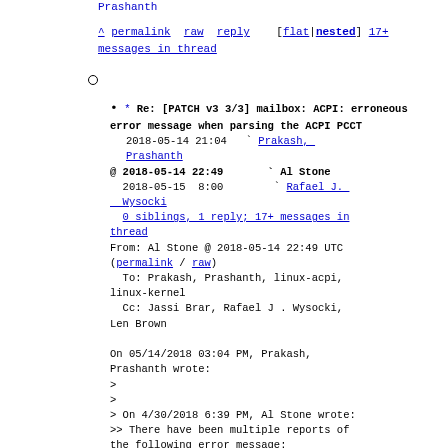Prashanth
^ permalink  raw  reply    [flat|nested]  17+ messages in thread
* Re: [PATCH v3 3/3] mailbox: ACPI: erroneous error message when parsing the ACPI PCCT
2018-05-14 21:04   ` Prakash, Prashanth
@ 2018-05-14 22:49     ` Al Stone
2018-05-15  8:00       ` Rafael J. Wysocki
0 siblings, 1 reply; 17+ messages in thread
From: Al Stone @ 2018-05-14 22:49 UTC (permalink / raw)
To: Prakash, Prashanth, linux-acpi, linux-kernel
Cc: Jassi Brar, Rafael J . Wysocki, Len Brown

On 05/14/2018 03:04 PM, Prakash, Prashanth wrote:
>
>
> On 4/30/2018 6:39 PM, Al Stone wrote:
>> There have been multiple reports of the following error message: